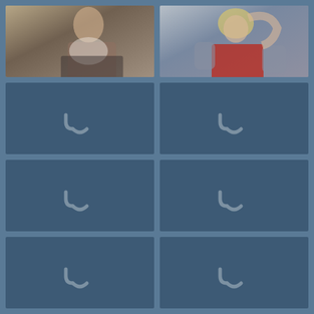[Figure (photo): Photo of a young man with dark hair, wearing a white shirt, sitting against a wall, looking at camera]
[Figure (photo): Photo of a young person with blonde hair wearing a red jacket, reclining with arms behind head]
[Figure (other): Loading placeholder with spinner icon - slate blue background]
[Figure (other): Loading placeholder with spinner icon - slate blue background]
[Figure (other): Loading placeholder with spinner icon - slate blue background]
[Figure (other): Loading placeholder with spinner icon - slate blue background]
[Figure (other): Loading placeholder with spinner icon - slate blue background]
[Figure (other): Loading placeholder with spinner icon - slate blue background]